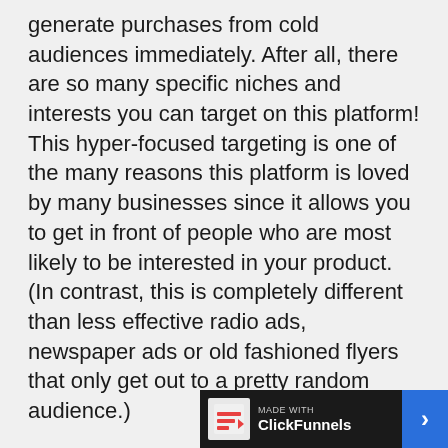generate purchases from cold audiences immediately. After all, there are so many specific niches and interests you can target on this platform! This hyper-focused targeting is one of the many reasons this platform is loved by many businesses since it allows you to get in front of people who are most likely to be interested in your product. (In contrast, this is completely different than less effective radio ads, newspaper ads or old fashioned flyers that only get out to a pretty random audience.)
But just because you have more options to narrow in on an interested audience on Facebook doesn't mean that it will happen immediately, will be easy, or will be straightforward for every business. For ICEMULE, they w[...] than 1 ROAS with their cold au[...]
[Figure (logo): ClickFunnels branding bar at bottom right: dark background with ClickFunnels logo and text 'made with ClickFunnels', with a blue arrow button on the right.]